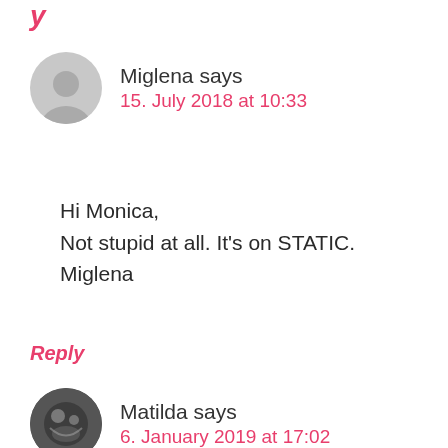Reply (partial, cut off at top)
Miglena says
15. July 2018 at 10:33
Hi Monica,
Not stupid at all. It's on STATIC.
Miglena
Reply
Matilda says
6. January 2019 at 17:02